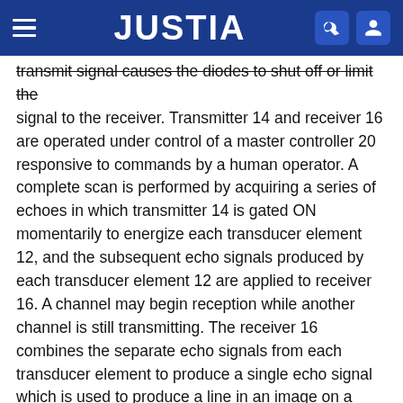JUSTIA
transmit signal causes the diodes to shut off or limit the signal to the receiver. Transmitter 14 and receiver 16 are operated under control of a master controller 20 responsive to commands by a human operator. A complete scan is performed by acquiring a series of echoes in which transmitter 14 is gated ON momentarily to energize each transducer element 12, and the subsequent echo signals produced by each transducer element 12 are applied to receiver 16. A channel may begin reception while another channel is still transmitting. The receiver 16 combines the separate echo signals from each transducer element to produce a single echo signal which is used to produce a line in an image on a display monitor 22.
Under the direction of master controller 20, the transmitter 14 drives transducer array 10 such that the ultrasonic energy is transmitted as a directed focused